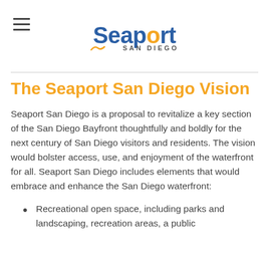Seaport San Diego
The Seaport San Diego Vision
Seaport San Diego is a proposal to revitalize a key section of the San Diego Bayfront thoughtfully and boldly for the next century of San Diego visitors and residents. The vision would bolster access, use, and enjoyment of the waterfront for all. Seaport San Diego includes elements that would embrace and enhance the San Diego waterfront:
Recreational open space, including parks and landscaping, recreation areas, a public